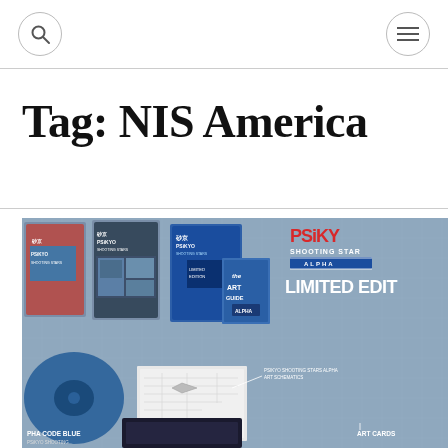[search icon] [menu icon]
Tag: NIS America
[Figure (photo): Psikyo Shooting Stars Alpha Limited Edition game collection product photo showing game boxes, art book, art guide, art schematics, art cards and a blue t-shirt on a gray grid background. Text visible: PSIKYO SHOOTING STARS ALPHA, LIMITED EDITION, ART GUIDE, ALPHA, PSIKYO SHOOTING STARS ALPHA ART SCHEMATICS, PHA CODE BLUE, ART CARDS]